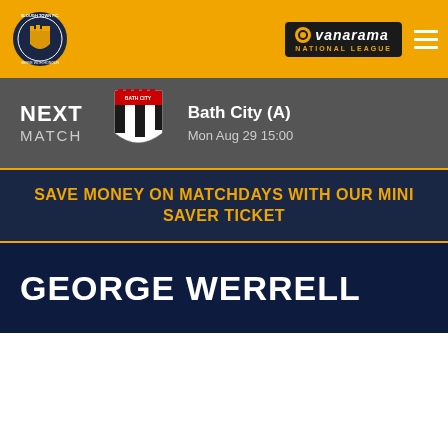[Figure (logo): Slough Town FC crest logo, circular badge with gold and blue]
[Figure (logo): Vanarama National League logo, dark background with orange accent]
NEXT MATCH
[Figure (logo): Bath City FC badge, red and white shield with battlements]
Bath City (A)
Mon Aug 29 15:00
SAVE MONEY ON MATCHDAYS WITH OUR MINI SAVER TICKET
GEORGE WERRELL